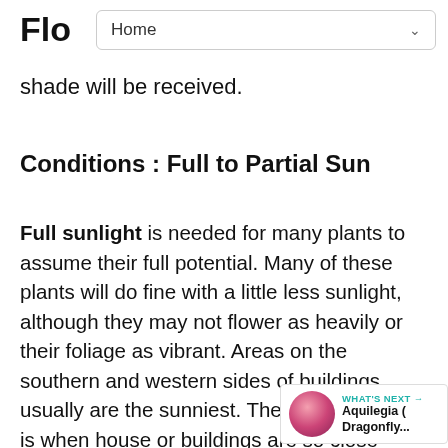Flo
shade will be received.
Conditions : Full to Partial Sun
Full sunlight is needed for many plants to assume their full potential. Many of these plants will do fine with a little less sunlight, although they may not flower as heavily or their foliage as vibrant. Areas on the southern and western sides of buildings usually are the sunniest. The only exception is when houses or buildings are so close together, shadows are cast from neighboring properties, usually means 6 or more hours of direct unobstructed sunlight on a sunny day. Partial